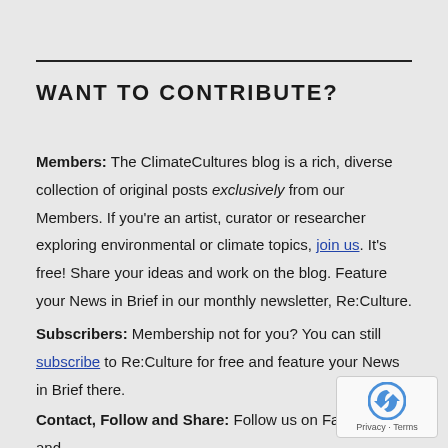WANT TO CONTRIBUTE?
Members: The ClimateCultures blog is a rich, diverse collection of original posts exclusively from our Members. If you're an artist, curator or researcher exploring environmental or climate topics, join us. It's free! Share your ideas and work on the blog. Feature your News in Brief in our monthly newsletter, Re:Culture.
Subscribers: Membership not for you? You can still subscribe to Re:Culture for free and feature your News in Brief there.
Contact, Follow and Share: Follow us on Facebook and